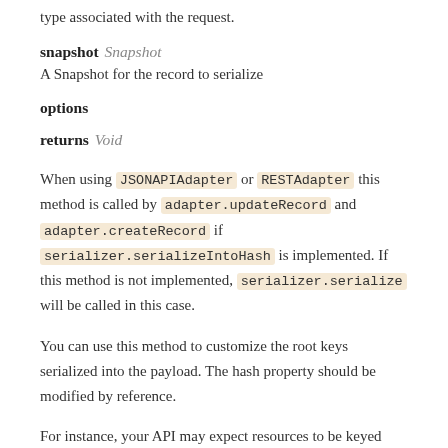type associated with the request.
snapshot Snapshot
A Snapshot for the record to serialize
options
returns Void
When using JSONAPIAdapter or RESTAdapter this method is called by adapter.updateRecord and adapter.createRecord if serializer.serializeIntoHash is implemented. If this method is not implemented, serializer.serialize will be called in this case.
You can use this method to customize the root keys serialized into the payload. The hash property should be modified by reference.
For instance, your API may expect resources to be keyed